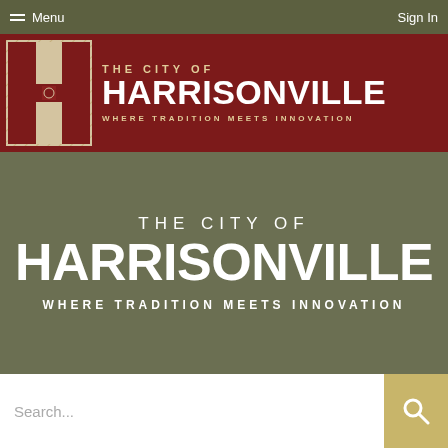Menu | Sign In
[Figure (logo): The City of Harrisonville logo banner with decorative H emblem on dark red background. Text reads: THE CITY OF HARRISONVILLE WHERE TRADITION MEETS INNOVATION]
THE CITY OF HARRISONVILLE WHERE TRADITION MEETS INNOVATION
Search...